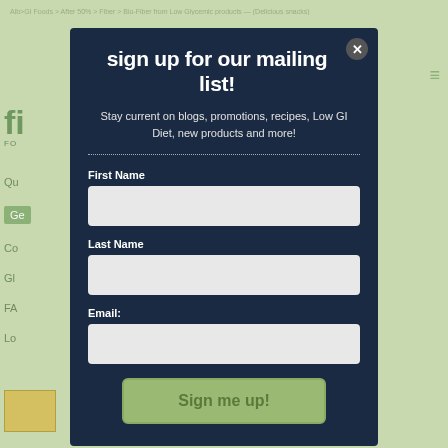[Figure (screenshot): Website background showing a food/nutrition website with green theme, partially visible behind a modal popup]
sign up for our mailing list!
Stay current on blogs, promotions, recipes, Low GI Diet, new products and more!
First Name
Last Name
Email:
Sign me up!